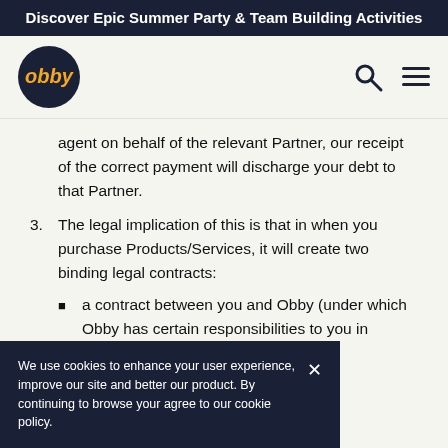Discover Epic Summer Party & Team Building Activities
[Figure (logo): Obby logo — dark navy circle with orange italic 'obby' text, plus search and hamburger menu icons]
agent on behalf of the relevant Partner, our receipt of the correct payment will discharge your debt to that Partner.
3. The legal implication of this is that in when you purchase Products/Services, it will create two binding legal contracts:
a contract between you and Obby (under which Obby has certain responsibilities to you in relation to the purchase or [ract"). That [n these Booking d
We use cookies to enhance your user experience, improve our site and better our product. By continuing to browse your agree to our cookie policy.